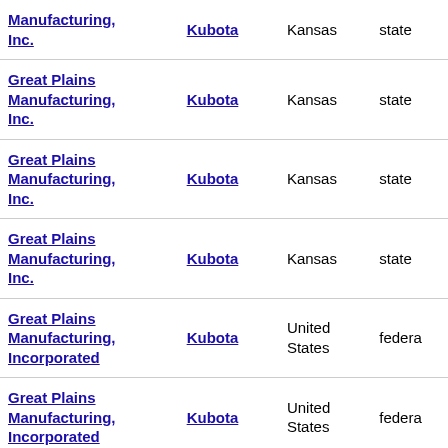| Manufacturing, Inc. | Kubota | Kansas | state |
| Great Plains Manufacturing, Inc. | Kubota | Kansas | state |
| Great Plains Manufacturing, Inc. | Kubota | Kansas | state |
| Great Plains Manufacturing, Inc. | Kubota | Kansas | state |
| Great Plains Manufacturing, Incorporated | Kubota | United States | federa |
| Great Plains Manufacturing, Incorporated | Kubota | United States | federa |
| Great Plains Manufacturing, Incorporated | Kubota | United States | federa |